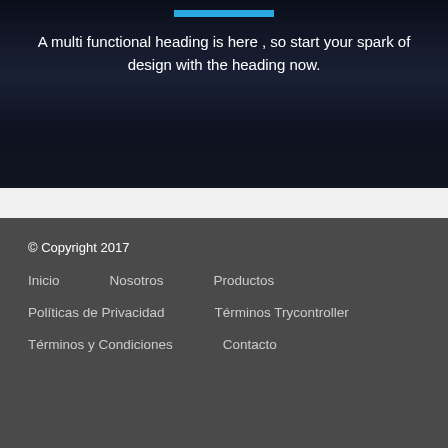[Figure (other): Hero section with dark navy/black background and a faint silhouette image]
A multi functional heading is here , so start your spark of design with the heading now.
© Copyright 2017
Inicio    Nosotros    Productos
Políticas de Privacidad    Términos Trycontroller
Términos y Condiciones    Contacto